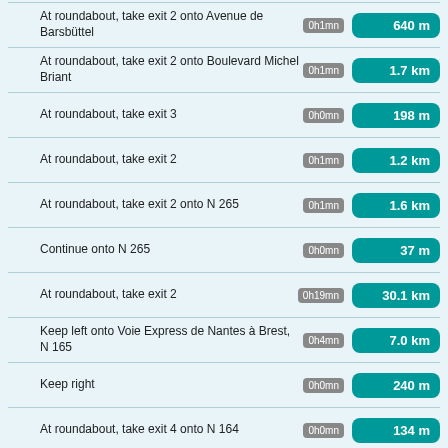At roundabout, take exit 2 onto Avenue de Barsbüttel
At roundabout, take exit 2 onto Boulevard Michel Briant
At roundabout, take exit 3
At roundabout, take exit 2
At roundabout, take exit 2 onto N 265
Continue onto N 265
At roundabout, take exit 2
Keep left onto Voie Express de Nantes à Brest, N 165
Keep right
At roundabout, take exit 4 onto N 164
Turn slight right onto N 164
At roundabout, take exit 2 onto N